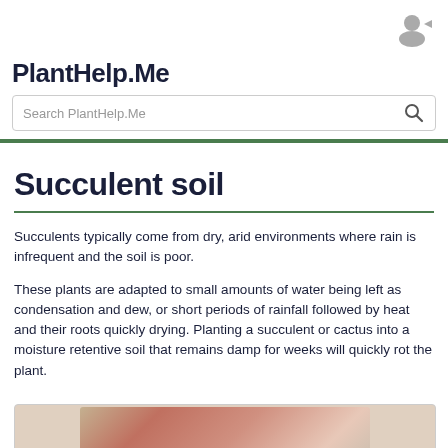PlantHelp.Me
Succulent soil
Succulents typically come from dry, arid environments where rain is infrequent and the soil is poor.
These plants are adapted to small amounts of water being left as condensation and dew, or short periods of rainfall followed by heat and their roots quickly drying. Planting a succulent or cactus into a moisture retentive soil that remains damp for weeks will quickly rot the plant.
[Figure (photo): Close-up photo of succulent plants with pink and white coloring]